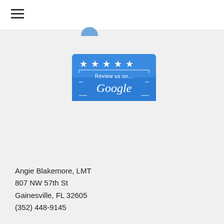[Figure (logo): Partial blue circle logo at top center]
[Figure (logo): Review us on Google button with 5 stars on blue background]
[Figure (logo): MassageBook widget showing 4 gold stars, Verified Reviews green dot, (249) reviews]
Angie Blakemore, LMT
807 NW 57th St
Gainesville, FL 32605
(352) 448-9145